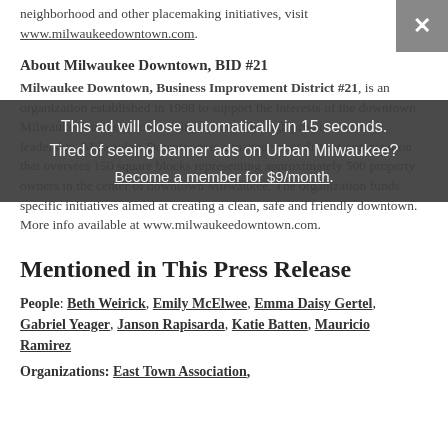neighborhood and other placemaking initiatives, visit www.milwaukeedowntown.com.
About Milwaukee Downtown, BID #21
Milwaukee Downtown, Business Improvement District #21, is an organization established in 1998 to support the interests of the downtown Milwaukee business community. Created through private sector leadership, Milwaukee Downtown is a management district organization that oversees 150 square blocks representing approximately 500 property owners in the center of downtown Milwaukee. The organization funds specific initiatives aimed at creating a clean, safe and friendly downtown. More info available at www.milwaukeedowntown.com.
Mentioned in This Press Release
People: Beth Weirick, Emily McElwee, Emma Daisy Gertel, Gabriel Yeager, Janson Rapisarda, Katie Batten, Mauricio Ramirez
Organizations: East Town Association,